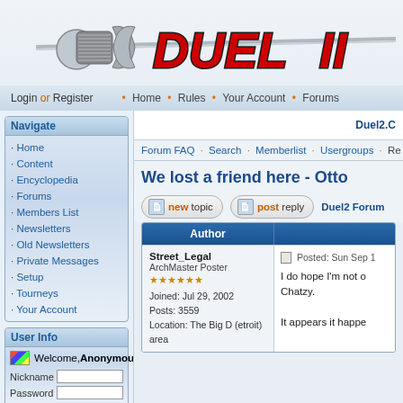[Figure (logo): Duel II website logo with a sword graphic and 'DUEL II' text in red/black bold italic font]
Login or Register · Home · Rules · Your Account · Forums
Navigate
Home
Content
Encyclopedia
Forums
Members List
Newsletters
Old Newsletters
Private Messages
Setup
Tourneys
Your Account
User Info
Welcome, Anonymous
Nickname | Password
Duel2.C
Forum FAQ · Search · Memberlist · Usergroups · Re
We lost a friend here - Otto
new topic   post reply   Duel2 Forum
| Author |  |
| --- | --- |
| Street_Legal
ArchMaster Poster
★★★★★★
Joined: Jul 29, 2002
Posts: 3559
Location: The Big D (etroit) area | Posted: Sun Sep 1
I do hope I'm not o
Chatzy.
It appears it happe |